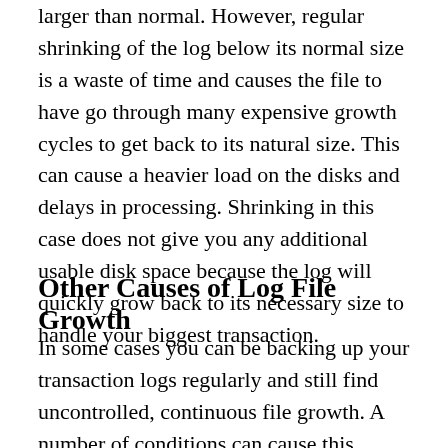larger than normal. However, regular shrinking of the log below its normal size is a waste of time and causes the file to have go through many expensive growth cycles to get back to its natural size. This can cause a heavier load on the disks and delays in processing. Shrinking in this case does not give you any additional usable disk space because the log will quickly grow back to its necessary size to handle your biggest transaction.
Other Causes of Log File Growth
In some cases you can be backing up your transaction logs regularly and still find uncontrolled, continuous file growth. A number of conditions can cause this. However, some of